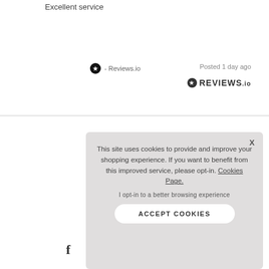Excellent service
- Reviews.io
Posted 1 day ago
[Figure (logo): REVIEWS.io logo with star icon]
[Figure (logo): Facebook f icon in footer]
THE
ign Up For New
To see how
TOP
This site uses cookies to provide and improve your shopping experience. If you want to benefit from this improved service, please opt-in. Cookies Page.
I opt-in to a better browsing experience
ACCEPT COOKIES